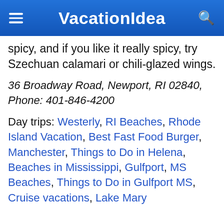VacationIdea
spicy, and if you like it really spicy, try Szechuan calamari or chili-glazed wings.
36 Broadway Road, Newport, RI 02840, Phone: 401-846-4200
Day trips: Westerly, RI Beaches, Rhode Island Vacation, Best Fast Food Burger, Manchester, Things to Do in Helena, Beaches in Mississippi, Gulfport, MS Beaches, Things to Do in Gulfport MS, Cruise vacations, Lake Mary